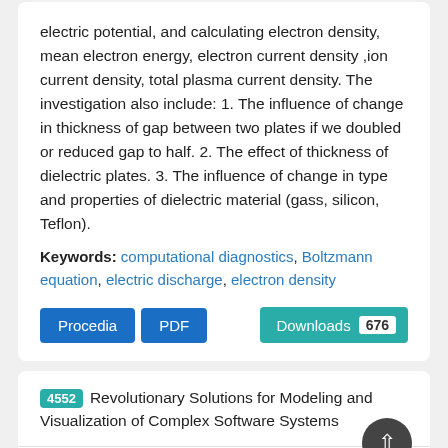electric potential, and calculating electron density, mean electron energy, electron current density ,ion current density, total plasma current density. The investigation also include: 1. The influence of change in thickness of gap between two plates if we doubled or reduced gap to half. 2. The effect of thickness of dielectric plates. 3. The influence of change in type and properties of dielectric material (gass, silicon, Teflon).
Keywords: computational diagnostics, Boltzmann equation, electric discharge, electron density
Procedia  PDF  Downloads 676
4552 Revolutionary Solutions for Modeling and Visualization of Complex Software Systems
Authors: Jay Xiong, Li Lin